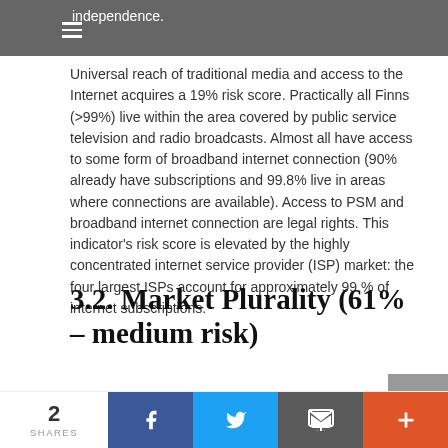independence.
Universal reach of traditional media and access to the Internet acquires a 19% risk score. Practically all Finns (>99%) live within the area covered by public service television and radio broadcasts. Almost all have access to some form of broadband internet connection (90% already have subscriptions and 99.8% live in areas where connections are available). Access to PSM and broadband internet connection are legal rights. This indicator's risk score is elevated by the highly concentrated internet service provider (ISP) market: the four largest ISPs account for approximately 99 % of internet subscriptions.
3.2. Market Plurality (61% – medium risk)
The Market Plurality indicators examine the existence and
2 SHARES